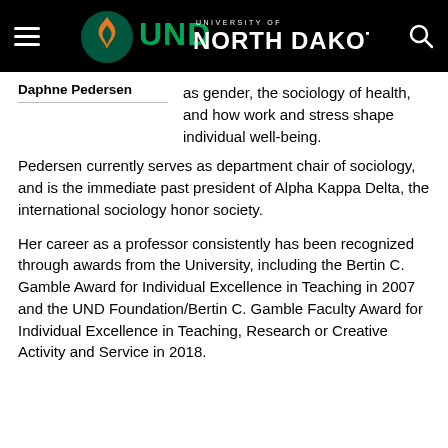[Figure (logo): University of North Dakota header logo with hamburger menu icon on the left, UND flame logo and 'NORTH DAKOTA' text in center, and search icon on the right, all on black background.]
Daphne Pedersen
as gender, the sociology of health, and how work and stress shape individual well-being.
Pedersen currently serves as department chair of sociology, and is the immediate past president of Alpha Kappa Delta, the international sociology honor society.
Her career as a professor consistently has been recognized through awards from the University, including the Bertin C. Gamble Award for Individual Excellence in Teaching in 2007 and the UND Foundation/Bertin C. Gamble Faculty Award for Individual Excellence in Teaching, Research or Creative Activity and Service in 2018.